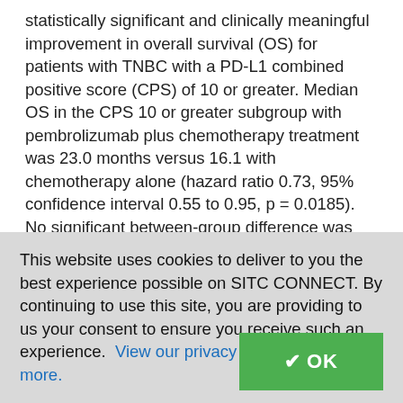statistically significant and clinically meaningful improvement in overall survival (OS) for patients with TNBC with a PD-L1 combined positive score (CPS) of 10 or greater. Median OS in the CPS 10 or greater subgroup with pembrolizumab plus chemotherapy treatment was 23.0 months versus 16.1 with chemotherapy alone (hazard ratio 0.73, 95% confidence interval 0.55 to 0.95, p = 0.0185). No significant between-group difference was observed with the addition of pembrolizumab to chemotherapy in the patients whose tumors had PD-L1 CPS of 1 or more. In exploratory analyses, the magnitude
This website uses cookies to deliver to you the best experience possible on SITC CONNECT. By continuing to use this site, you are providing to us your consent to ensure you receive such an experience.  View our privacy policy to learn more.